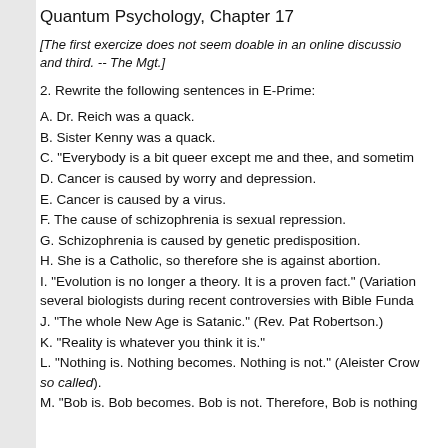Quantum Psychology, Chapter 17
[The first exercize does not seem doable in an online discussion and third. -- The Mgt.]
2. Rewrite the following sentences in E-Prime:
A. Dr. Reich was a quack.
B. Sister Kenny was a quack.
C. "Everybody is a bit queer except me and thee, and sometim
D. Cancer is caused by worry and depression.
E. Cancer is caused by a virus.
F. The cause of schizophrenia is sexual repression.
G. Schizophrenia is caused by genetic predisposition.
H. She is a Catholic, so therefore she is against abortion.
I. "Evolution is no longer a theory. It is a proven fact." (Variation several biologists during recent controversies with Bible Funda
J. "The whole New Age is Satanic." (Rev. Pat Robertson.)
K. "Reality is whatever you think it is."
L. "Nothing is. Nothing becomes. Nothing is not." (Aleister Crow so called).
M. "Bob is. Bob becomes. Bob is not. Therefore, Bob is nothing